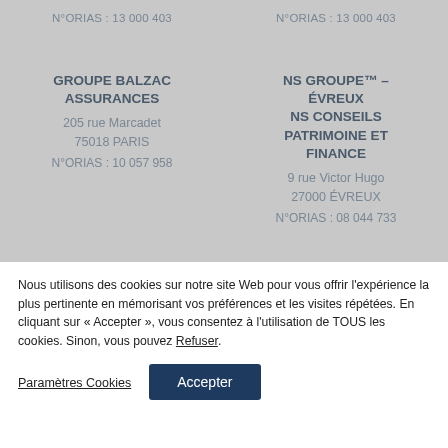N°ORIAS : 13 000 403
N°ORIAS : 13 000 403
GROUPE BALZAC ASSURANCES
205 rue Marcadet
75018 PARIS
N°ORIAS : 10 057 958
NS GROUPE™ – ÉVREUX
NS CONSEILS PATRIMOINE ET FINANCE
9 rue Victor Hugo
27000 ÉVREUX
N°ORIAS : 08 044 733
Nous utilisons des cookies sur notre site Web pour vous offrir l'expérience la plus pertinente en mémorisant vos préférences et les visites répétées. En cliquant sur « Accepter », vous consentez à l'utilisation de TOUS les cookies. Sinon, vous pouvez Refuser.
Paramètres Cookies
Accepter